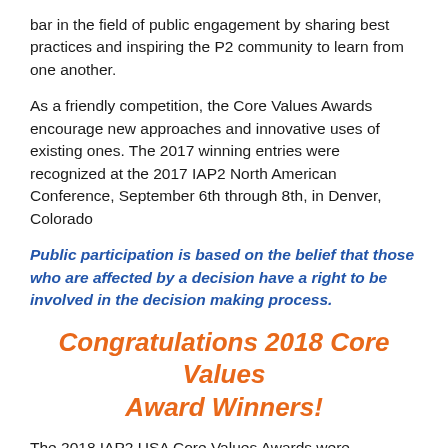bar in the field of public engagement by sharing best practices and inspiring the P2 community to learn from one another.
As a friendly competition, the Core Values Awards encourage new approaches and innovative uses of existing ones. The 2017 winning entries were recognized at the 2017 IAP2 North American Conference, September 6th through 8th, in Denver, Colorado
Public participation is based on the belief that those who are affected by a decision have a right to be involved in the decision making process.
Congratulations 2018 Core Values Award Winners!
The 2018 IAP2 USA Core Values Awards were presented September 6th, 2018 at the Core Values Awards Gala at the Victoria Conference Center in Victoria, BC.